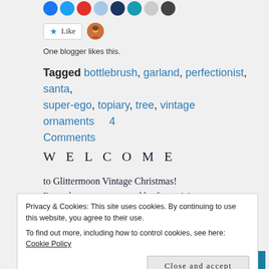[Figure (other): Row of social share icon circles (blue, teal, red, light blue, dark blue, teal, gray, dark) at top]
[Figure (other): Like button with star icon and avatar illustration of a person]
One blogger likes this.
Tagged bottlebrush, garland, perfectionist, santa, super-ego, topiary, tree, vintage ornaments   4 Comments
W E L C O M E
to Glittermoon Vintage Christmas!
I'm so happy you stopped by for a visit.
Privacy & Cookies: This site uses cookies. By continuing to use this website, you agree to their use.
To find out more, including how to control cookies, see here: Cookie Policy
Close and accept
[Figure (photo): Bottom strip of colorful vintage Christmas ornaments image]